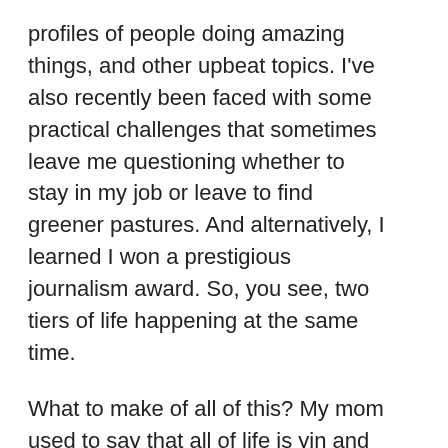profiles of people doing amazing things, and other upbeat topics. I've also recently been faced with some practical challenges that sometimes leave me questioning whether to stay in my job or leave to find greener pastures. And alternatively, I learned I won a prestigious journalism award. So, you see, two tiers of life happening at the same time.
What to make of all of this? My mom used to say that all of life is yin and yang. The good is necessitated by the bad, the joy is sweeter because of the pain. Honestly, I thought it was ridiculous at the time. I couldn't comprehend what she meant. I railed against loss, frustration, and disappointment. I raged at injustice as a completely unnecessary evil. And I shut out the thought of ever losing someone I love, ever.